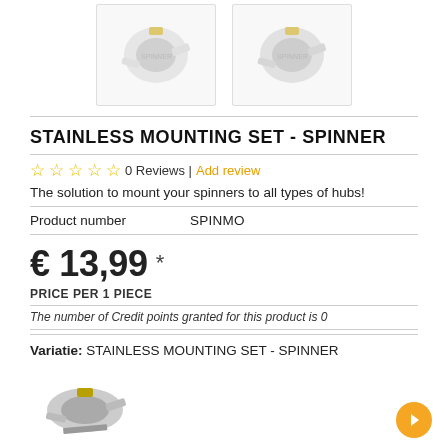[Figure (photo): Two product images of a stainless mounting set spinner, shown side by side in white bordered boxes.]
STAINLESS MOUNTING SET - SPINNER
☆ ☆ ☆ ☆ ☆ 0 Reviews | Add review
The solution to mount your spinners to all types of hubs!
| Product number | SPINMO |
| --- | --- |
€ 13,99 *
PRICE PER 1 PIECE
The number of Credit points granted for this product is 0
Variatie: STAINLESS MOUNTING SET - SPINNER
[Figure (photo): Thumbnail image of the stainless mounting set spinner product.]